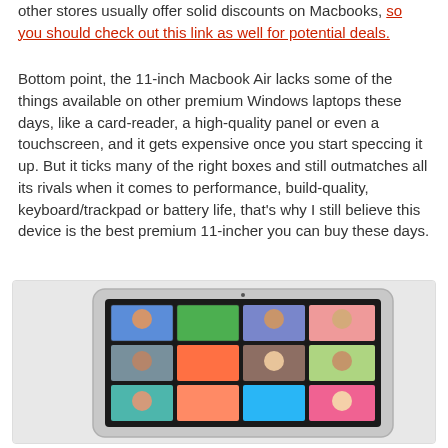other stores usually offer solid discounts on Macbooks, so you should check out this link as well for potential deals.
Bottom point, the 11-inch Macbook Air lacks some of the things available on other premium Windows laptops these days, like a card-reader, a high-quality panel or even a touchscreen, and it gets expensive once you start speccing it up. But it ticks many of the right boxes and still outmatches all its rivals when it comes to performance, build-quality, keyboard/trackpad or battery life, that's why I still believe this device is the best premium 11-incher you can buy these days.
[Figure (photo): A Macbook Air laptop shown at an angle displaying a photo gallery on screen with multiple thumbnail images of people and places]